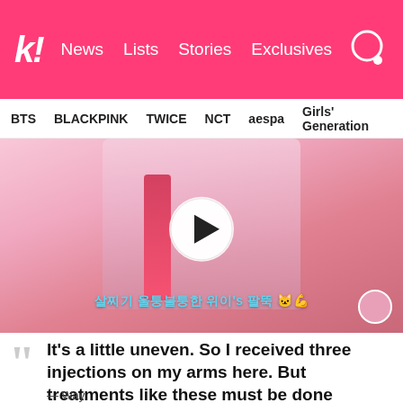k! News  Lists  Stories  Exclusives
BTS  BLACKPINK  TWICE  NCT  aespa  Girls' Generation
[Figure (photo): Video thumbnail showing a woman in a pink setting holding an object, with Korean text subtitle '살찌기 울퉁불퉁한 위이's 팔뚝' and a play button overlay]
It's a little uneven. So I received three injections on my arms here. But treatments like these must be done regularly.
— Way